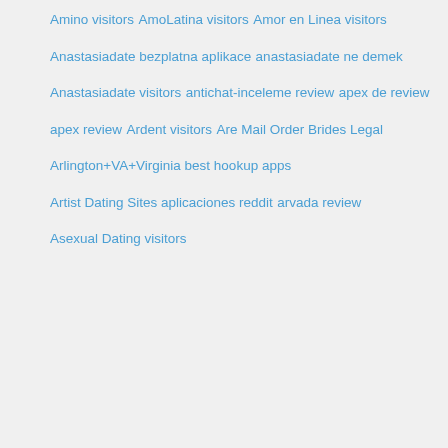Amino visitors
AmoLatina visitors
Amor en Linea visitors
Anastasiadate bezplatna aplikace
anastasiadate ne demek
Anastasiadate visitors
antichat-inceleme review
apex de review
apex review
Ardent visitors
Are Mail Order Brides Legal
Arlington+VA+Virginia best hookup apps
Artist Dating Sites aplicaciones reddit
arvada review
Asexual Dating visitors